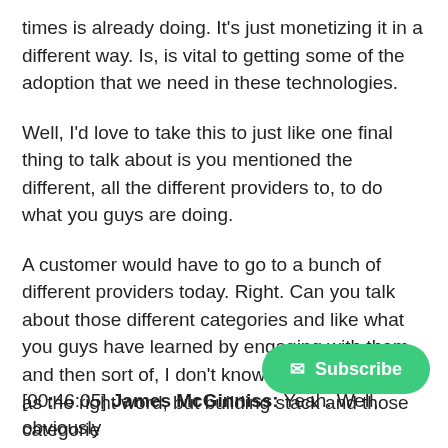times is already doing. It's just monetizing it in a different way. Is, is vital to getting some of the adoption that we need in these technologies.
Well, I'd love to take this to just like one final thing to talk about is you mentioned the different, all the different providers to, to do what you guys are doing.
A customer would have to go to a bunch of different providers today. Right. Can you talk about those different categories and like what you guys have learned by engaging with them and then sort of, I don't know for placing them as the right word, but building stack and those categories
[00:46:05] James McGinniss: Yeah. Well, obviously